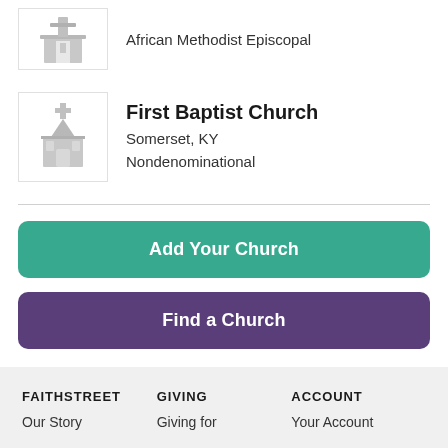[Figure (illustration): Gray church icon (simple building with bell tower), partially visible at top of page]
African Methodist Episcopal
[Figure (illustration): Gray church icon with steeple and cross]
First Baptist Church
Somerset, KY
Nondenominational
Add Your Church
Find a Church
FAITHSTREET
Our Story
GIVING
Giving for
ACCOUNT
Your Account